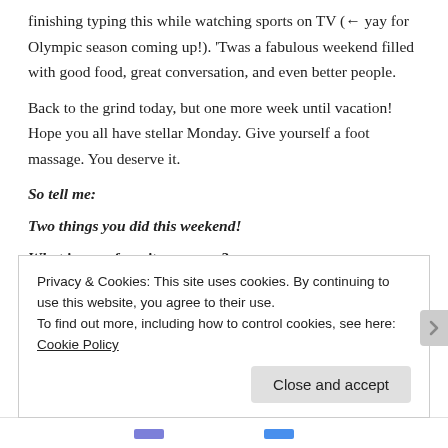finishing typing this while watching sports on TV (← yay for Olympic season coming up!). 'Twas a fabulous weekend filled with good food, great conversation, and even better people.
Back to the grind today, but one more week until vacation! Hope you all have stellar Monday. Give yourself a foot massage. You deserve it.
So tell me:
Two things you did this weekend!
What is your favorite museum?
Privacy & Cookies: This site uses cookies. By continuing to use this website, you agree to their use. To find out more, including how to control cookies, see here: Cookie Policy